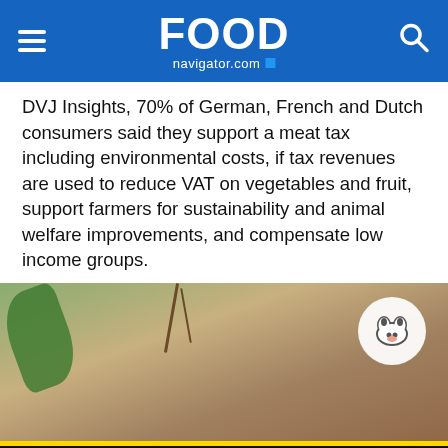FoodNavigator.com
DVJ Insights, 70% of German, French and Dutch consumers said they support a meat tax including environmental costs, if tax revenues are used to reduce VAT on vegetables and fruit, support farmers for sustainability and animal welfare improvements, and compensate low income groups.
[Figure (photo): Hands holding a bundle of herbs/plants with soil, with a white cow logo watermark in top-right corner]
This website uses cookies. By continuing to browse our website, you are agreeing to our use of cookies. You can learn more about cookies by visiting our privacy & cookies policy page.